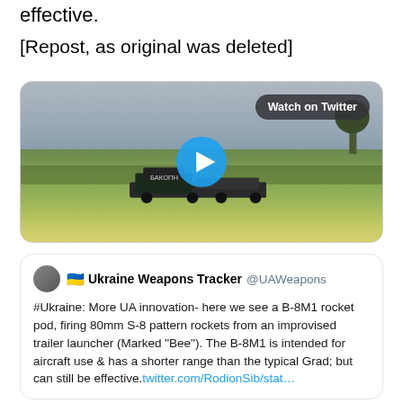effective.
[Repost, as original was deleted]
[Figure (screenshot): Video thumbnail showing a green grassy field with an improvised rocket launcher (marked 'Бакопн') under an overcast sky. A 'Watch on Twitter' button appears in the top right. A blue play button circle is centered on the image.]
🇺🇦 Ukraine Weapons Tracker @UAWeapons
#Ukraine: More UA innovation- here we see a B-8M1 rocket pod, firing 80mm S-8 pattern rockets from an improvised trailer launcher (Marked "Bee"). The B-8M1 is intended for aircraft use & has a shorter range than the typical Grad; but can still be effective.twitter.com/RodionSib/stat...